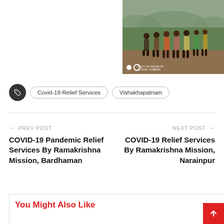[Figure (photo): People standing in line outdoors in a rural setting, likely for COVID-19 relief distribution. Green landscape and hills in background.]
Covid-19 Relief Services  Vishakhapatnam
← PREV POST
COVID-19 Pandemic Relief Services By Ramakrishna Mission, Bardhaman
NEXT POST →
COVID-19 Relief Services By Ramakrishna Mission, Narainpur
You Might Also Like